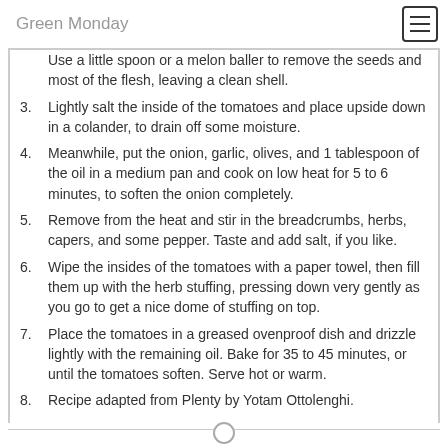Green Monday
Use a little spoon or a melon baller to remove the seeds and most of the flesh, leaving a clean shell.
3. Lightly salt the inside of the tomatoes and place upside down in a colander, to drain off some moisture.
4. Meanwhile, put the onion, garlic, olives, and 1 tablespoon of the oil in a medium pan and cook on low heat for 5 to 6 minutes, to soften the onion completely.
5. Remove from the heat and stir in the breadcrumbs, herbs, capers, and some pepper. Taste and add salt, if you like.
6. Wipe the insides of the tomatoes with a paper towel, then fill them up with the herb stuffing, pressing down very gently as you go to get a nice dome of stuffing on top.
7. Place the tomatoes in a greased ovenproof dish and drizzle lightly with the remaining oil. Bake for 35 to 45 minutes, or until the tomatoes soften. Serve hot or warm.
8. Recipe adapted from Plenty by Yotam Ottolenghi.